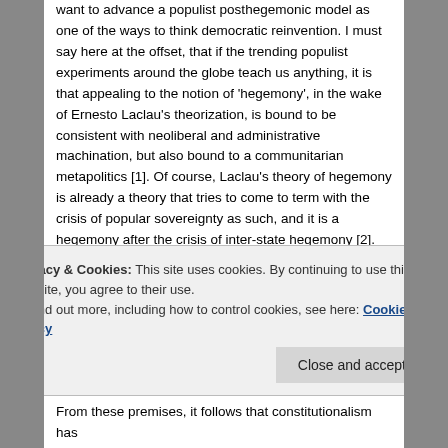want to advance a populist posthegemonic model as one of the ways to think democratic reinvention. I must say here at the offset, that if the trending populist experiments around the globe teach us anything, it is that appealing to the notion of 'hegemony', in the wake of Ernesto Laclau's theorization, is bound to be consistent with neoliberal and administrative machination, but also bound to a communitarian metapolitics [1]. Of course, Laclau's theory of hegemony is already a theory that tries to come to term with the crisis of popular sovereignty as such, and it is a hegemony after the crisis of inter-state hegemony [2]. My thesis is that hegemony cannot do the work. An implicit premise that guides this reflection is that the rule of law is central to any discussion of the contemporary crisis of democracy. I think that if we are to move beyond
Privacy & Cookies: This site uses cookies. By continuing to use this website, you agree to their use. To find out more, including how to control cookies, see here: Cookie Policy
Close and accept
From these premises, it follows that constitutionalism has